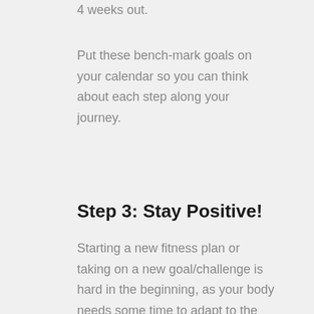4 weeks out.
Put these bench-mark goals on your calendar so you can think about each step along your journey.
Step 3: Stay Positive!
Starting a new fitness plan or taking on a new goal/challenge is hard in the beginning, as your body needs some time to adapt to the new routine. You may feel